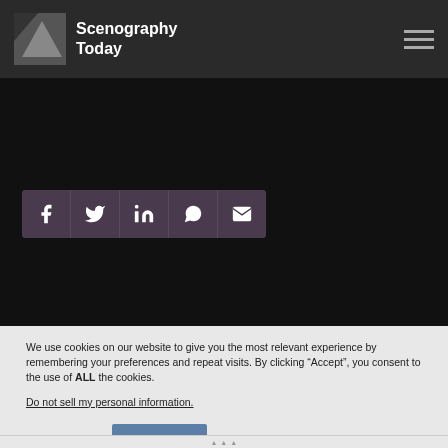Scenography Today
[Figure (other): Social media share buttons: Facebook, Twitter, LinkedIn, WhatsApp, Email]
We use cookies on our website to give you the most relevant experience by remembering your preferences and repeat visits. By clicking “Accept”, you consent to the use of ALL the cookies.
Do not sell my personal information.
Cookie settings   ACCEPT